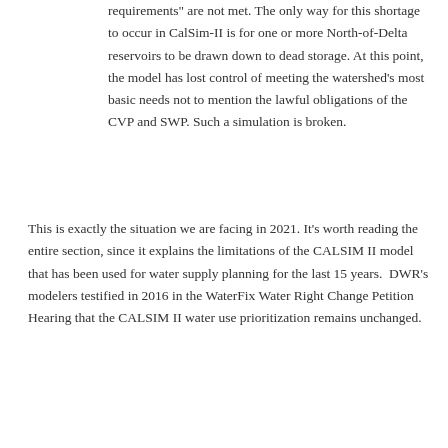requirements" are not met. The only way for this shortage to occur in CalSim-II is for one or more North-of-Delta reservoirs to be drawn down to dead storage. At this point, the model has lost control of meeting the watershed’s most basic needs not to mention the lawful obligations of the CVP and SWP. Such a simulation is broken.
This is exactly the situation we are facing in 2021. It’s worth reading the entire section, since it explains the limitations of the CALSIM II model that has been used for water supply planning for the last 15 years.  DWR’s modelers testified in 2016 in the WaterFix Water Right Change Petition Hearing that the CALSIM II water use prioritization remains unchanged.